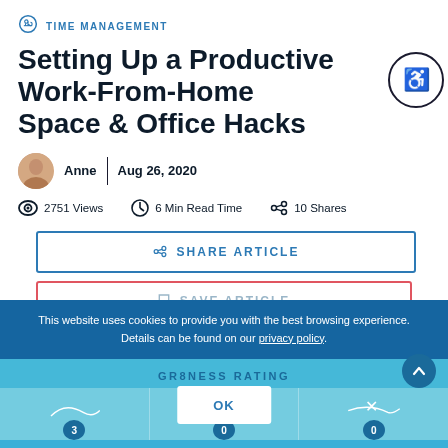TIME MANAGEMENT
Setting Up a Productive Work-From-Home Space & Office Hacks
Anne  |  Aug 26, 2020
2751 Views    6 Min Read Time    10 Shares
SHARE ARTICLE
SAVE ARTICLE
This website uses cookies to provide you with the best browsing experience. Details can be found on our privacy policy.
GR8NESS RATING
OK
3   0   0